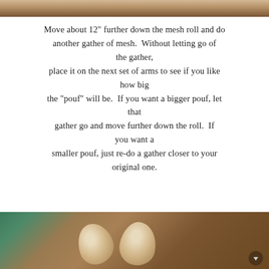[Figure (photo): Top portion of a photo showing a wooden table surface with craft materials]
Move about 12" further down the mesh roll and do another gather of mesh.  Without letting go of the gather, place it on the next set of arms to see if you like how big the "pouf" will be.  If you want a bigger pouf, let that gather go and move further down the roll.  If you want a smaller pouf, just re-do a gather closer to your original one.
[Figure (photo): Bottom portion of a photo showing mesh fabric gathered into pouf shapes on a wooden table, with teal/green fabric visible at left edge]